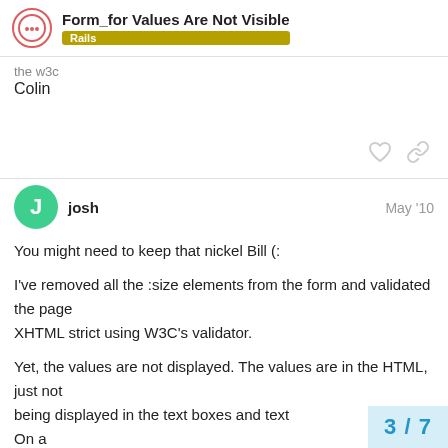Form_for Values Are Not Visible — Rails
the w3c
Colin
josh  May '10
You might need to keep that nickel Bill (:
I've removed all the :size elements from the form and validated the page
XHTML strict using W3C's validator.
Yet, the values are not displayed. The values are in the HTML, just not
being displayed in the text boxes and text
On a
3 / 7